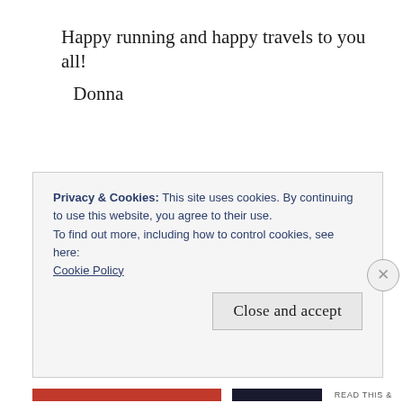Happy running and happy travels to you all!
 Donna
Privacy & Cookies: This site uses cookies. By continuing to use this website, you agree to their use.
To find out more, including how to control cookies, see here:
Cookie Policy
Close and accept